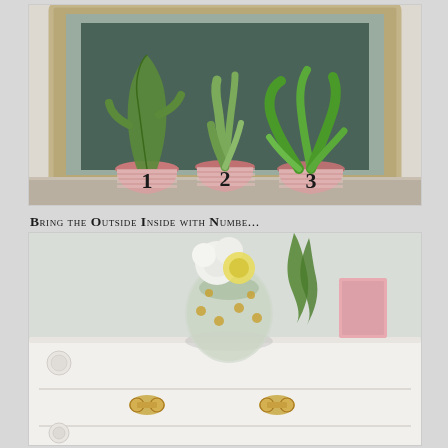[Figure (photo): Three numbered terracotta flower pots (1, 2, 3) with green plants in front of a large ornate chalkboard frame on a white wooden surface. The pots are decorated with pink patterned wrapping.]
Bring the Outside Inside with Numbe...
[Figure (photo): A white painted dresser with gold ornate drawer pulls. On top sits a round glass vase with white and yellow flowers and green leaves, and a small pink card.]